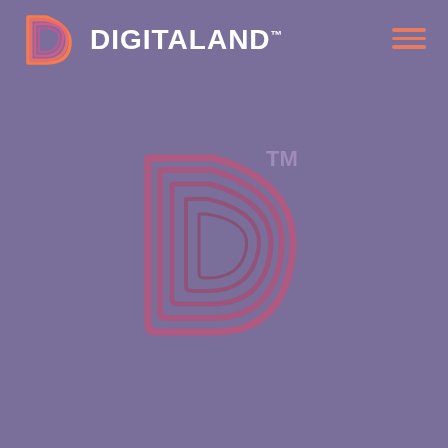[Figure (logo): Digitaland brand logo in header: stylized D icon with gradient from orange to pink, followed by DIGITALAND trademark text in white, with hamburger menu icon (three coral/orange lines) in top right corner]
[Figure (logo): Large Digitaland D logo centered on purple background, rendered in muted pink/mauve tones with nested rounded square D lettermark and TM trademark symbol]